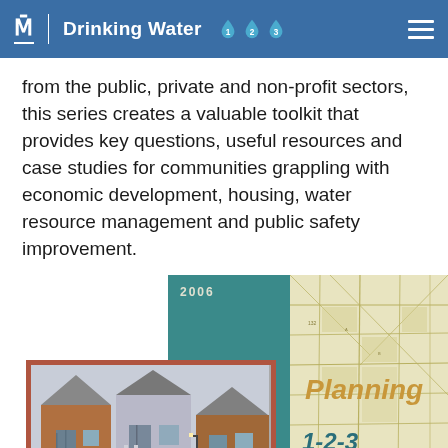M | Drinking Water 1 2 3
from the public, private and non-profit sectors, this series creates a valuable toolkit that provides key questions, useful resources and case studies for communities grappling with economic development, housing, water resource management and public safety improvement.
[Figure (illustration): Book cover for 'Planning 1-2-3: A step-by-step workbook to writing a comprehensive plan in Illinois' (2006), showing a photo of residential houses, a teal background panel, a map background, and a brown caption bar.]